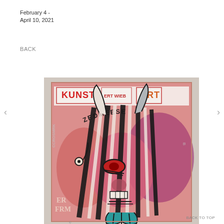February 4 -
April 10, 2021
BACK
[Figure (photo): A bold, expressive painting of a stylized figure with striped dreadlocks and horns, rendered in red, black, white, and teal. Text visible includes 'KUNST', 'ART', 'ZEDMEESE'. The style is reminiscent of Basquiat-influenced street art.]
BACK TO TOP